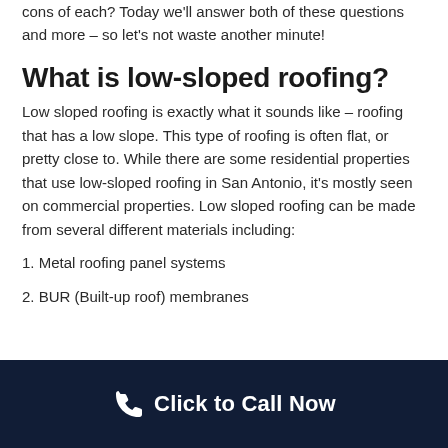cons of each? Today we'll answer both of these questions and more – so let's not waste another minute!
What is low-sloped roofing?
Low sloped roofing is exactly what it sounds like – roofing that has a low slope. This type of roofing is often flat, or pretty close to. While there are some residential properties that use low-sloped roofing in San Antonio, it's mostly seen on commercial properties. Low sloped roofing can be made from several different materials including:
1. Metal roofing panel systems
2. BUR (Built-up roof) membranes
Click to Call Now